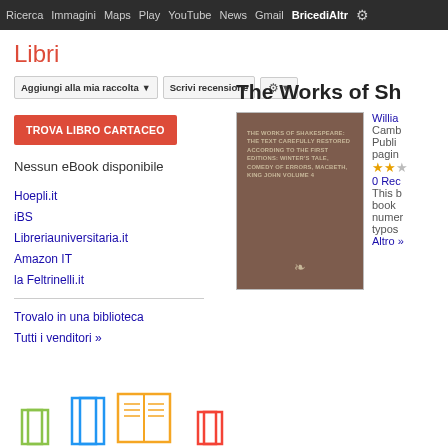Ricerca  Immagini  Maps  Play  YouTube  News  Gmail  BrioediAltr
Libri
Aggiungi alla mia raccolta  Scrivi recensione
TROVA LIBRO CARTACEO
Nessun eBook disponibile
Hoepli.it
iBS
Libreriauniversitaria.it
Amazon IT
la Feltrinelli.it
Trovalo in una biblioteca
Tutti i venditori »
The Works of Sh
[Figure (illustration): Book cover of The Works of Shakespeare, brown/taupe colored cover with small text listing: THE WORKS OF SHAKESPEARE: THE TEXT CAREFULLY RESTORED ACCORDING TO THE FIRST EDITIONS: WINTER'S TALE, COMEDY OF ERRORS, MACBETH, KING JOHN VOLUME 4, with ornamental publisher mark at bottom]
Willia
Camb
Publi
pagin
★★
0 Rec
This b
book
nume
typos
Altro »